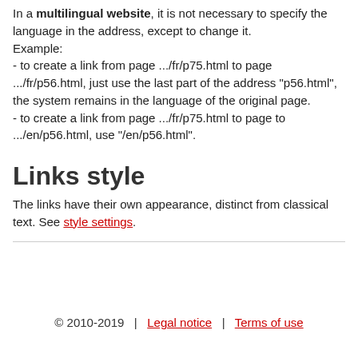In a multilingual website, it is not necessary to specify the language in the address, except to change it. Example:
- to create a link from page .../fr/p75.html to page .../fr/p56.html, just use the last part of the address "p56.html", the system remains in the language of the original page.
- to create a link from page .../fr/p75.html to page to .../en/p56.html, use "/en/p56.html".
Links style
The links have their own appearance, distinct from classical text. See style settings.
© 2010-2019  |  Legal notice  |  Terms of use